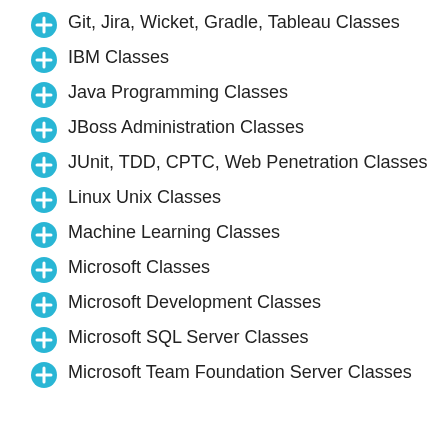Git, Jira, Wicket, Gradle, Tableau Classes
IBM Classes
Java Programming Classes
JBoss Administration Classes
JUnit, TDD, CPTC, Web Penetration Classes
Linux Unix Classes
Machine Learning Classes
Microsoft Classes
Microsoft Development Classes
Microsoft SQL Server Classes
Microsoft Team Foundation Server Classes